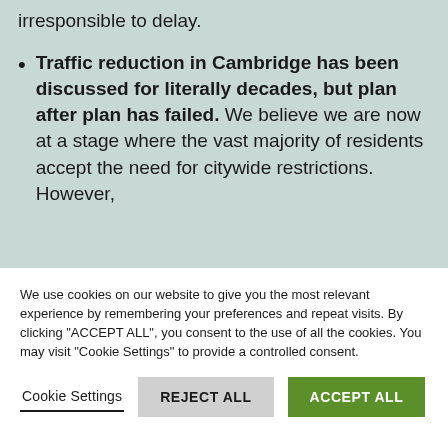irresponsible to delay.
Traffic reduction in Cambridge has been discussed for literally decades, but plan after plan has failed. We believe we are now at a stage where the vast majority of residents accept the need for citywide restrictions. However,
We use cookies on our website to give you the most relevant experience by remembering your preferences and repeat visits. By clicking "ACCEPT ALL", you consent to the use of all the cookies. You may visit "Cookie Settings" to provide a controlled consent.
Cookie Settings    REJECT ALL    ACCEPT ALL